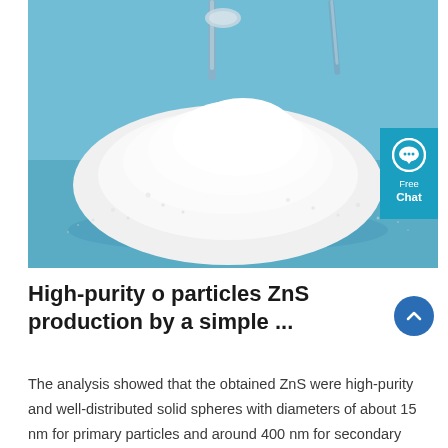[Figure (photo): Photograph of a pile of white powder (ZnS nanoparticles) on a blue background, with tweezers/spoon visible at the top. A blue chat widget overlay with speech bubble icon showing 'Free Chat' is visible on the right edge.]
High-purity o particles ZnS production by a simple ...
The analysis showed that the obtained ZnS were high-purity and well-distributed solid spheres with diameters of about 15 nm for primary particles and around 400 nm for secondary particles.